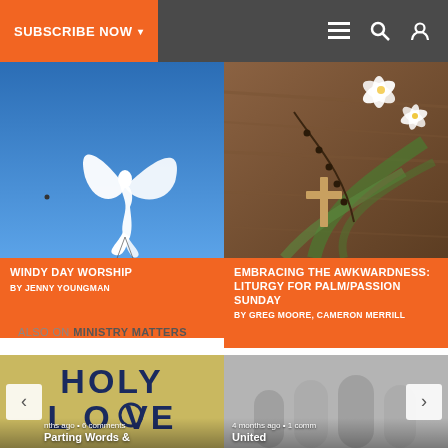SUBSCRIBE NOW ▾
[Figure (photo): White dove kite flying against a blue sky]
WINDY DAY WORSHIP
BY JENNY YOUNGMAN
[Figure (photo): Cross, rosary beads, palm leaves and white lily flowers on wooden table]
EMBRACING THE AWKWARDNESS: LITURGY FOR PALM/PASSION SUNDAY
BY GREG MOORE, CAMERON MERRILL
ALSO ON MINISTRY MATTERS
[Figure (photo): Holy Love book cover with large bold text. Caption: months ago • 6 comments]
Parting Words &
[Figure (photo): Gray church arches image. Caption: 4 months ago • 1 comm]
United